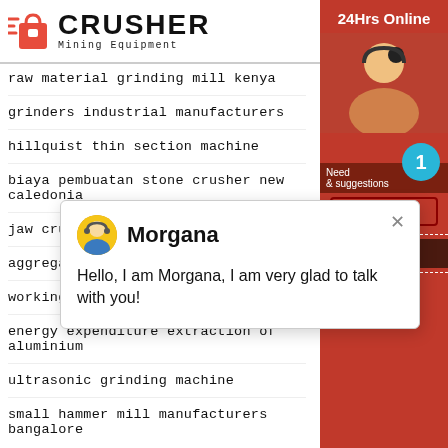[Figure (logo): Crusher Mining Equipment logo with red shopping bag icon and bold CRUSHER text]
raw material grinding mill kenya
grinders industrial manufacturers
hillquist thin section machine
biaya pembuatan stone crusher new caledonia
jaw crusher strength
aggregate production rate crushing
working principle of cone crusher
energy expenditure extraction of aluminium
ultrasonic grinding machine
small hammer mill manufacturers bangalore
[Figure (screenshot): Right sidebar with 24Hrs Online label, chat agent photo, notification badge showing 1, Need & suggestions text, Chat Now button, Enquiry button, and limingjlmofen@sina.com email]
[Figure (screenshot): Chat popup with Morgana agent avatar and message: Hello, I am Morgana, I am very glad to talk with you!]